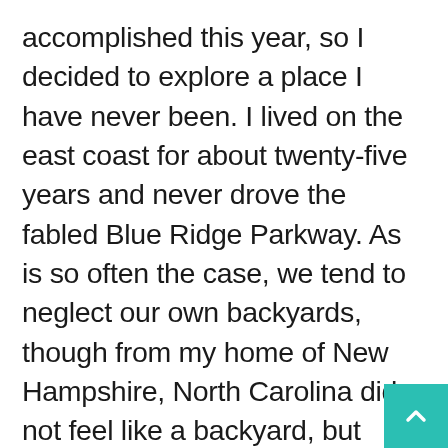accomplished this year, so I decided to explore a place I have never been. I lived on the east coast for about twenty-five years and never drove the fabled Blue Ridge Parkway. As is so often the case, we tend to neglect our own backyards, though from my home of New Hampshire, North Carolina did not feel like a backyard, but coming from Alaska, my sense of scale has been redefined. There is a chance for splendid foliage and waterfalls. We missed a large measure of autumn in Alaska this year due to winds and weather stripping the trees as soon as they turned. Most importantly, it is a chance to visit a new